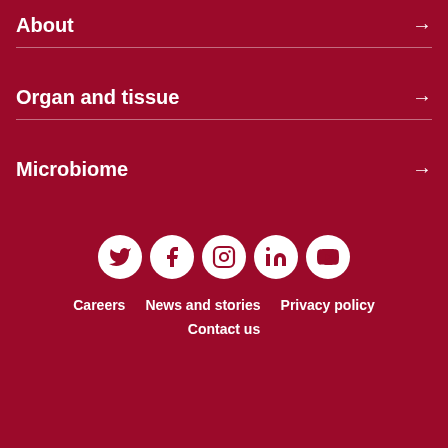About →
Organ and tissue →
Microbiome →
[Figure (infographic): Five social media icons in white circles: Twitter, Facebook, Instagram, LinkedIn, YouTube]
Careers   News and stories   Privacy policy
Contact us